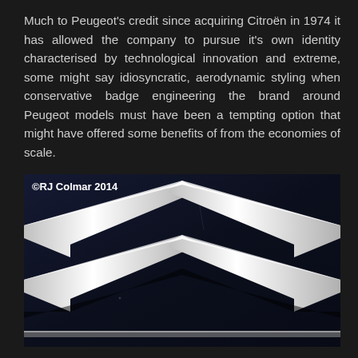Much to Peugeot's credit since acquiring Citroën in 1974 it has allowed the company to pursue it's own identity characterised by technological innovation and extreme, some might say idiosyncratic, aerodynamic styling when conservative badge engineering the brand around Peugeot models must have been a tempting option that might have offered some benefits of from the economies of scale.
[Figure (photo): Close-up photograph of the Citroën double chevron logo badge in chrome/silver on a dark navy blue background. The two chevron shapes point upward and are made of polished chrome metal. Watermark reads ©RJ Colmar 2014.]